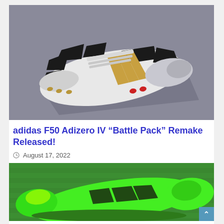[Figure (photo): Adidas F50 Adizero IV Battle Pack soccer cleat, white with black geometric pattern and gold stripes, red studs, viewed from above on gray surface]
adidas F50 Adizero IV “Battle Pack” Remake Released!
© August 17, 2022
[Figure (photo): Bright green/neon adidas soccer cleat on grass, side view showing sole and upper with black details]